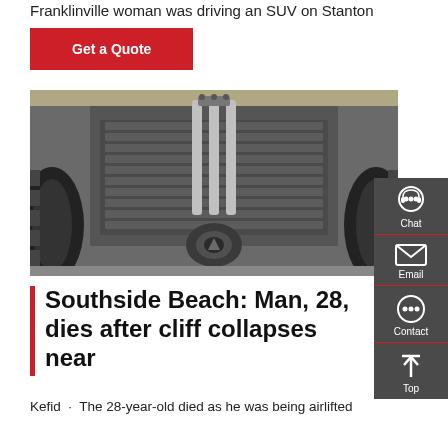Franklinville woman was driving an SUV on Stanton
Get a Quote
[Figure (photo): Close-up mechanical photo showing the underside of a vehicle with axle, differential, suspension components, and off-road tires visible on either side.]
Southside Beach: Man, 28, dies after cliff collapses near
Kefid · The 28-year-old died as he was being airlifted